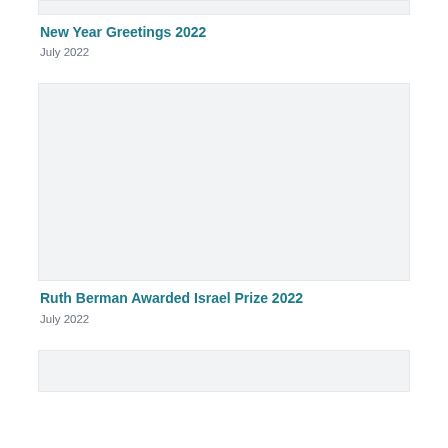[Figure (other): Gray placeholder image box at top of page]
New Year Greetings 2022
July 2022
[Figure (other): Large gray placeholder image box]
Ruth Berman Awarded Israel Prize 2022
July 2022
[Figure (other): Gray placeholder image box at bottom of page]